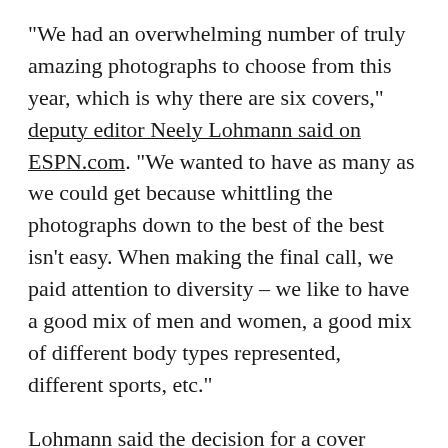"We had an overwhelming number of truly amazing photographs to choose from this year, which is why there are six covers," deputy editor Neely Lohmann said on ESPN.com. "We wanted to have as many as we could get because whittling the photographs down to the best of the best isn't easy. When making the final call, we paid attention to diversity – we like to have a good mix of men and women, a good mix of different body types represented, different sports, etc."
Lohmann said the decision for a cover photo isn't made until after a shoot is finished and the editors are looking at the finished products.
"When we see an image that blows us away,